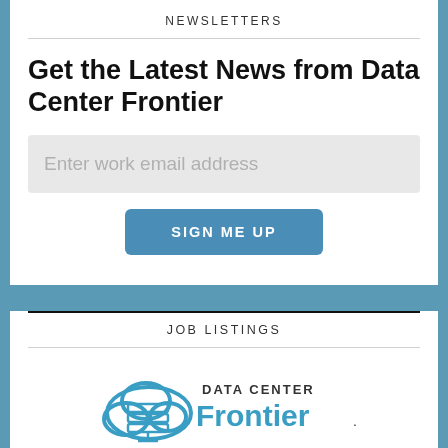NEWSLETTERS
Get the Latest News from Data Center Frontier
Enter work email address
SIGN ME UP
JOB LISTINGS
[Figure (logo): Data Center Frontier logo with cloud and server icon, text reading DATA CENTER Frontier JOBS POWERED BY]